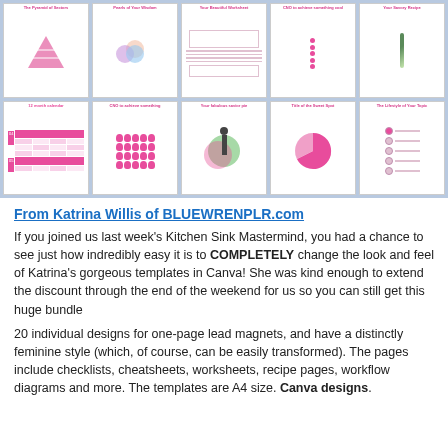[Figure (illustration): Grid of 10 thumbnail images showing various pink-themed Canva template designs including pyramid diagram, venn diagram, worksheet, checklist, recipe page, calendar, apple grid, human silhouette with circles, pie chart, and lifestyle options layout.]
From Katrina Willis of BLUEWRENPLR.com
If you joined us last week's Kitchen Sink Mastermind, you had a chance to see just how indredibly easy it is to COMPLETELY change the look and feel of Katrina's gorgeous templates in Canva! She was kind enough to extend the discount through the end of the weekend for us so you can still get this huge bundle
20 individual designs for one-page lead magnets, and have a distinctly feminine style (which, of course, can be easily transformed). The pages include checklists, cheatsheets, worksheets, recipe pages, workflow diagrams and more. The templates are A4 size. Canva designs.